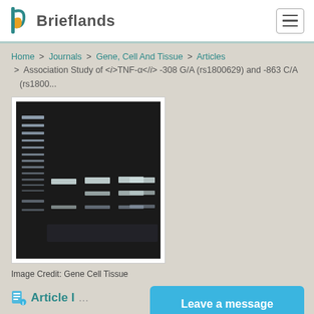Brieflands
Home > Journals > Gene, Cell And Tissue > Articles > Association Study of <i>TNF-α</i> -308 G/A (rs1800629) and -863 C/A (rs1800...
[Figure (photo): Gel electrophoresis image showing DNA bands on agarose gel. A ladder lane on the left with multiple bands, and four sample lanes showing distinct band patterns at different molecular weights. Image has dark background with lighter bands.]
Image Credit: Gene Cell Tissue
Article I...